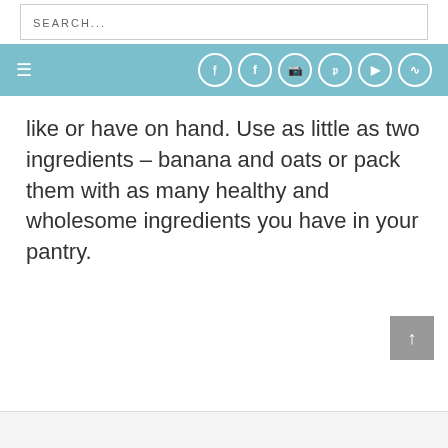SEARCH...
[Figure (screenshot): Navigation bar with hamburger menu icon on left and social media icons (Pinterest, Facebook, Instagram, Twitter, YouTube, RSS) on right, teal/blue background]
like or have on hand. Use as little as two ingredients – banana and oats or pack them with as many healthy and wholesome ingredients you have in your pantry.